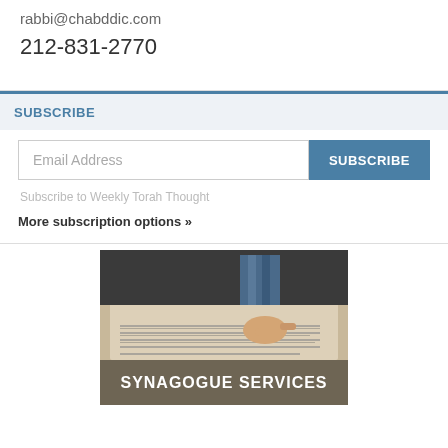rabbi@chabddic.com
212-831-2770
SUBSCRIBE
Email Address
SUBSCRIBE
Subscribe to Weekly Torah Thought
More subscription options »
[Figure (photo): A person's hand pointing at text in a Torah scroll, with the image overlaid by the text SYNAGOGUE SERVICES]